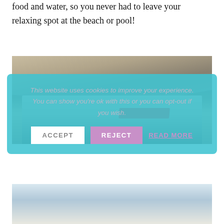food and water, so you never had to leave your relaxing spot at the beach or pool!
[Figure (photo): Outdoor covered patio area with a large suspended/hanging daybed with a red pillow, seen from below the slatted roof structure]
[Figure (other): Cookie consent overlay dialog with cyan/teal background, containing text 'This website uses cookies to improve your experience. You can show you’re ok with this or you can opt-out if you wish.' with ACCEPT, REJECT, and READ MORE buttons]
[Figure (photo): Partial photo showing cloudy sky, bottom portion of page]